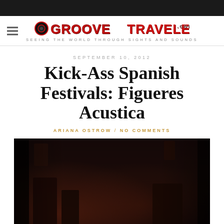GrooveTraveler.com — SEEING THE WORLD THROUGH SIGHTS AND SOUNDS
SEPTEMBER 10, 2012
Kick-Ass Spanish Festivals: Figueres Acustica
ARIANA OSTROW / NO COMMENTS
[Figure (photo): Dark concert photograph showing performers on stage at Figueres Acustica festival, dimly lit with reddish ambient lighting]